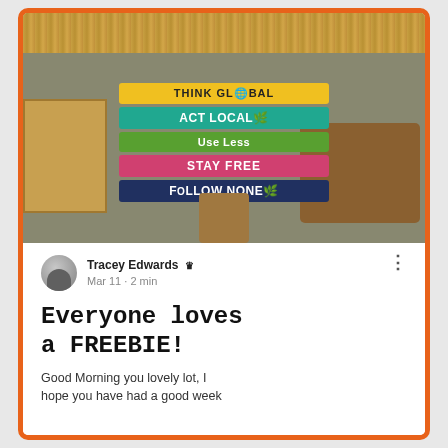[Figure (photo): Indoor tropical cafe or hostel space with thatched roof, wooden furniture, colorful painted signs on a central column reading: THINK GLOBAL, ACT LOCAL, Use Less, STAY FREE, FOLLOW NONE]
Tracey Edwards 👑
Mar 11 · 2 min
Everyone loves a FREEBIE!
Good Morning you lovely lot, I hope you have had a good week